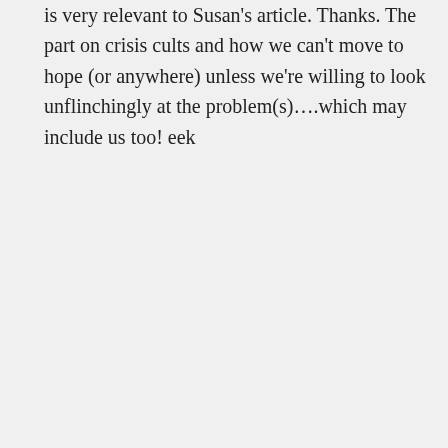is very relevant to Susan's article. Thanks. The part on crisis cults and how we can't move to hope (or anywhere) unless we're willing to look unflinchingly at the problem(s)….which may include us too! eek
Carlos Beca on February 11, 2014 at 6:30 pm
Mary I am happy you found it relevant. Chris Hedges is very good but he does not hide anything and reality these days is quite